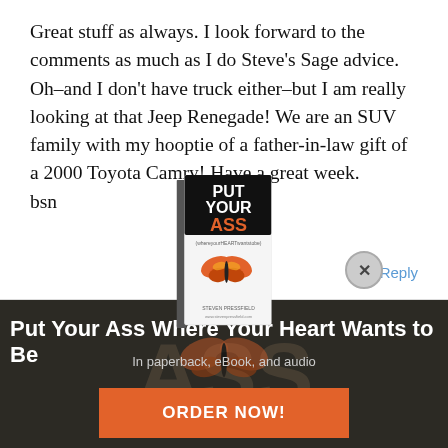Great stuff as always. I look forward to the comments as much as I do Steve's Sage advice. Oh–and I don't have truck either–but I am really looking at that Jeep Renegade! We are an SUV family with my hooptie of a father-in-law gift of a 2000 Toyota Camry! Have a great week.
bsn
Reply
[Figure (illustration): Book cover for 'Put Your Ass Where Your Heart Wants to Be' showing title text and a butterfly]
[Figure (photo): Dark background image showing large text 'ASS (whereyourHEARTwantstobe)' in a book advertisement panel]
Put Your Ass Where Your Heart Wants to Be
In paperback, eBook, and audio
ORDER NOW!